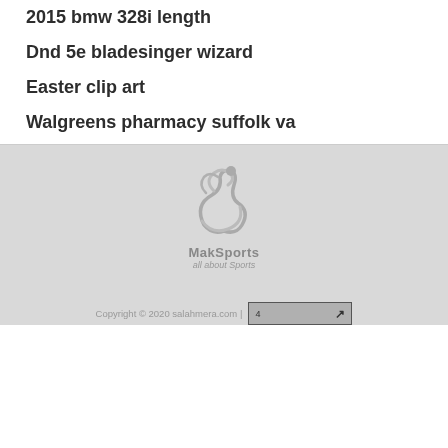2015 bmw 328i length
Dnd 5e bladesinger wizard
Easter clip art
Walgreens pharmacy suffolk va
[Figure (logo): MakSports logo — stylized figure graphic in gray tones with text 'MakSports' and 'all about Sports' below]
Copyright © 2020 salahmera.com | 4 [search box with arrow]